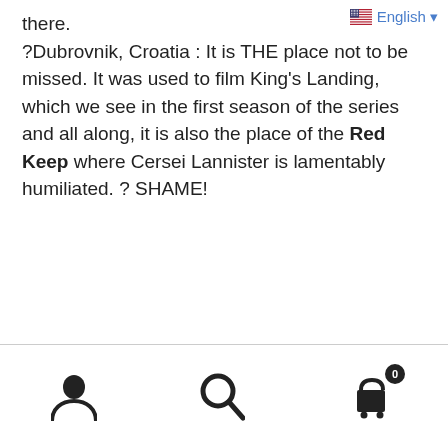there.
?Dubrovnik, Croatia : It is THE place not to be missed. It was used to film King's Landing, which we see in the first season of the series and all along, it is also the place of the Red Keep where Cersei Lannister is lamentably humiliated. ? SHAME!
English ▾ [user icon] [search icon] [cart icon with badge 0]